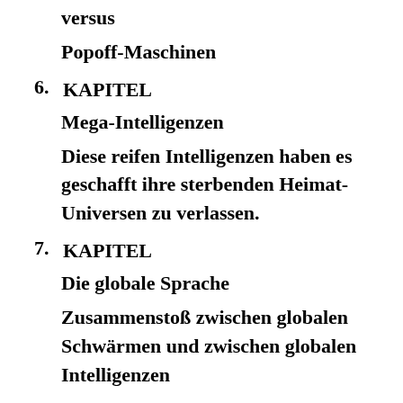versus
Popoff-Maschinen
6. KAPITEL
Mega-Intelligenzen
Diese reifen Intelligenzen haben es geschafft ihre sterbenden Heimat-Universen zu verlassen.
7. KAPITEL
Die globale Sprache
Zusammenstoß zwischen globalen Schwärmen und zwischen globalen Intelligenzen